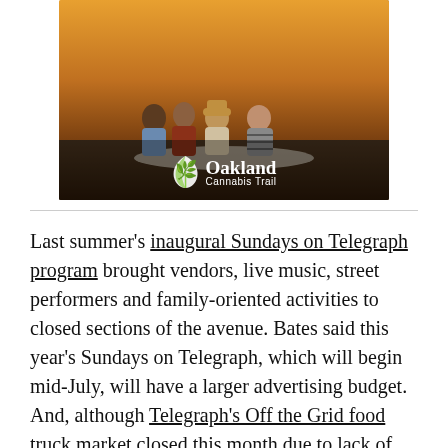[Figure (photo): Photo of four people sitting together on a blanket outdoors at sunset, viewed from behind. Oakland Cannabis Trail logo with leaf icon overlaid at bottom center. Decorative script title at top.]
Last summer's inaugural Sundays on Telegraph program brought vendors, live music, street performers and family-oriented activities to closed sections of the avenue. Bates said this year's Sundays on Telegraph, which will begin mid-July, will have a larger advertising budget. And, although Telegraph's Off the Grid food truck market closed this month due to lack of customers, Bates said he has higher hopes for